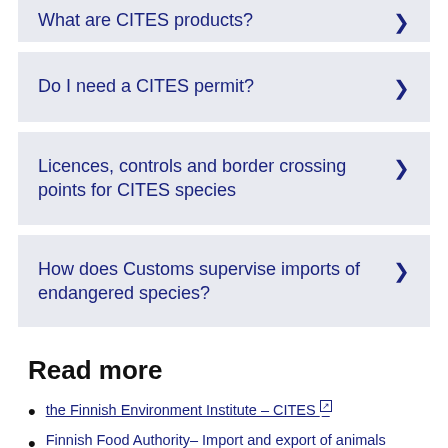What are CITES products?
Do I need a CITES permit?
Licences, controls and border crossing points for CITES species
How does Customs supervise imports of endangered species?
Read more
the Finnish Environment Institute – CITES
Finnish Food Authority– Import and export of animals